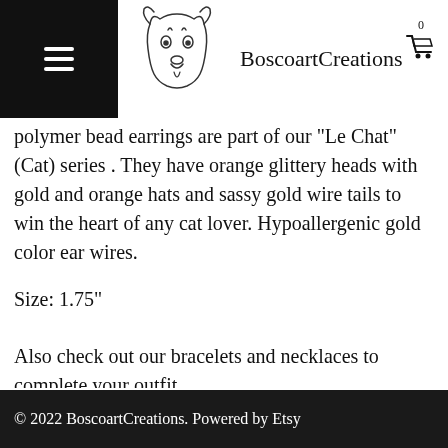BoscoartCreations
polymer bead earrings are part of our "Le Chat" (Cat) series . They have orange glittery heads with gold and orange hats and sassy gold wire tails to win the heart of any cat lover. Hypoallergenic gold color ear wires.
Size: 1.75"
Also check out our bracelets and necklaces to complete your outfit.
© 2022 BoscoartCreations. Powered by Etsy